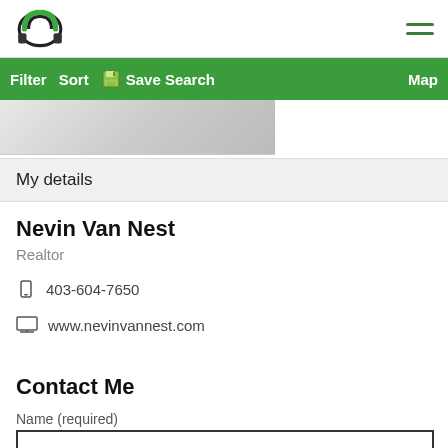Nevin Van Nest Realtor app header with logo and hamburger menu
Filter  Sort  Save Search  Map
[Figure (screenshot): Partial property image thumbnail]
My details
Nevin Van Nest
Realtor
403-604-7650
www.nevinvannest.com
Contact Me
Name (required)